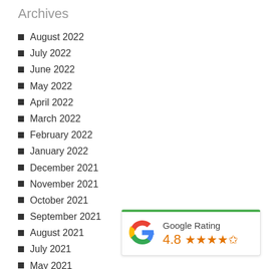Archives
August 2022
July 2022
June 2022
May 2022
April 2022
March 2022
February 2022
January 2022
December 2021
November 2021
October 2021
September 2021
August 2021
July 2021
May 2021
April 2021
March 2021
[Figure (infographic): Google Rating widget showing 4.8 stars out of 5 with Google logo and green top border]